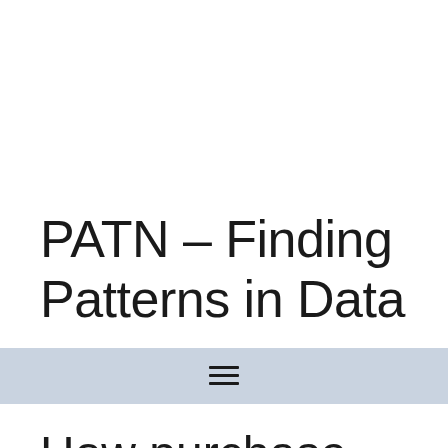PATN – Finding Patterns in Data
How purchase